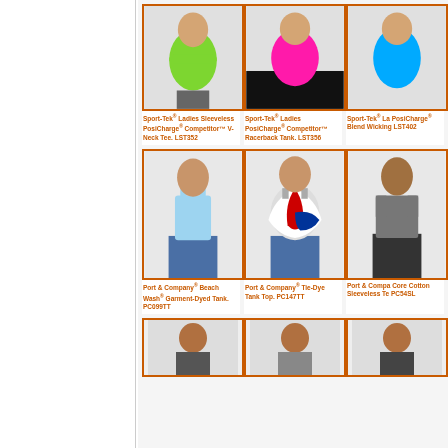[Figure (photo): Women's green sleeveless sport tee]
Sport-Tek® Ladies Sleeveless PosiCharge® Competitor™ V-Neck Tee. LST352
[Figure (photo): Women's pink sleeveless sport tank]
Sport-Tek® Ladies PosiCharge® Competitor™ Racerback Tank. LST356
[Figure (photo): Women's blue PosiCharge top (partial)]
Sport-Tek® La PosiCharge® Blend Wicking LST402
[Figure (photo): Man in light blue tank top]
Port & Company® Beach Wash® Garment-Dyed Tank. PC099TT
[Figure (photo): Man in red/white/blue tie-dye tank top]
Port & Company® Tie-Dye Tank Top. PC147TT
[Figure (photo): Man in grey sleeveless tee (partial)]
Port & Compa Core Cotton Sleeveless Te PC54SL
[Figure (photo): Bottom row: three men in tanks (partial, cut off)]